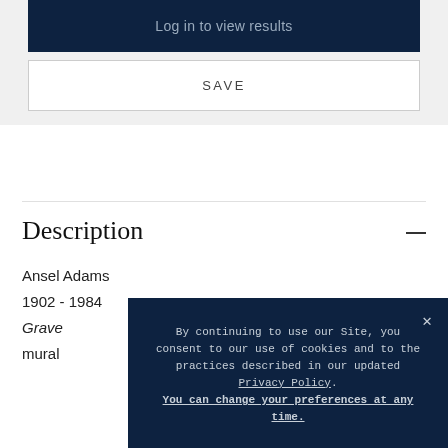Log in to view results
SAVE
Description
Ansel Adams
1902 - 1984
Grave...
mural
By continuing to use our Site, you consent to our use of cookies and to the practices described in our updated Privacy Policy. You can change your preferences at any time.